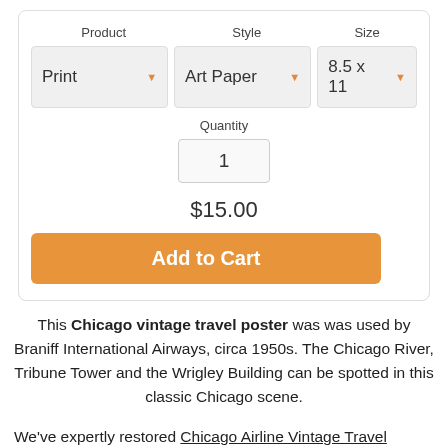Product   Style   Size
Print ▾   Art Paper ▾   8.5 x 11 ▾
Quantity
1
$15.00
Add to Cart
This Chicago vintage travel poster was was used by Braniff International Airways, circa 1950s. The Chicago River, Tribune Tower and the Wrigley Building can be spotted in this classic Chicago scene.
We've expertly restored Chicago Airline Vintage Travel Poster from a high-resolution scan so that your print faithfully represents the original.